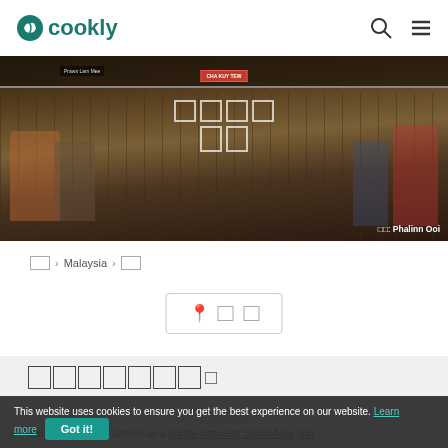cookly
[Figure (photo): Outdoor food hawker market scene with crowds of people dining at tables, food stalls with signs in the background. Photo credit: Phalinn Ooi]
□□ › Malaysia › □□
📍 □□
□□□□□□□
□□□
Penang has long served as a bridge between South Asia and
This website uses cookies to ensure you get the best experience on our website. Learn more  Got it!